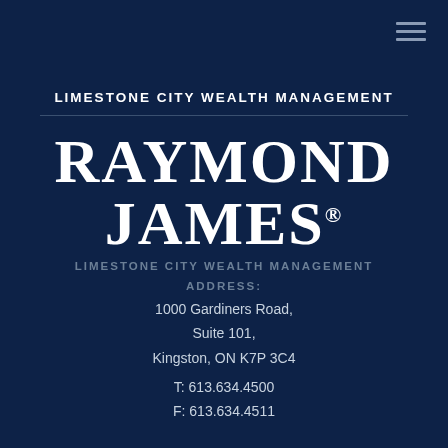[Figure (logo): Hamburger menu icon (three horizontal lines) in top right corner]
LIMESTONE CITY WEALTH MANAGEMENT
[Figure (logo): RAYMOND JAMES® logotype in large bold serif white text]
LIMESTONE CITY WEALTH MANAGEMENT ADDRESS:
1000 Gardiners Road,
Suite 101,
Kingston, ON K7P 3C4

T: 613.634.4500

F: 613.634.4511